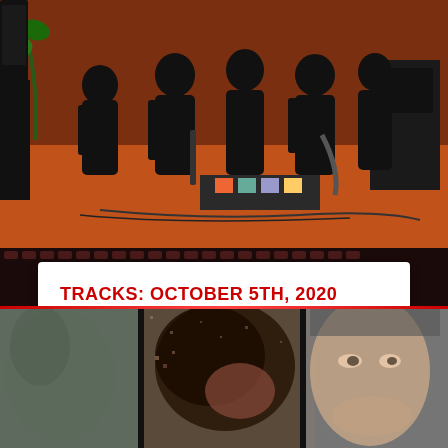[Figure (photo): Band photo showing musicians in black clothing on an orange/red stage setup with instruments and equipment]
TRACKS: OCTOBER 5TH, 2020
by I Die You Die | Oct 5, 2020 | Tracks | 0
New tracks for spooky season by Minuit Machine, Executioner's Mask, Glass Apple Bonzai, Klack, Null Command and Lizard Skin.
READ MORE
[Figure (photo): Composite image with close-up faces and textured imagery at bottom of page, styled like film strip frames]